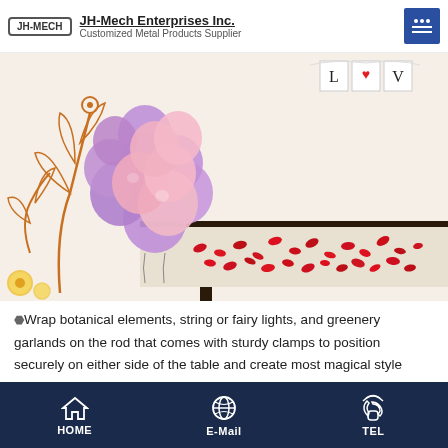JH-Mech Enterprises Inc. — Customized Metal Products Supplier
[Figure (photo): A table decorated with pink and purple balloon garland cluster on the left side. A table in the background has scattered red rose petals. White background with orange floral print. Banner with L, heart, V visible in upper right.]
Wrap botanical elements, string or fairy lights, and greenery garlands on the rod that comes with sturdy clamps to position securely on either side of the table and create most magical style statements.
[Figure (photo): Partial view of a colorful party decoration scene with yellow, red, and blue bunting/flags.]
HOME | E-Mail | TEL